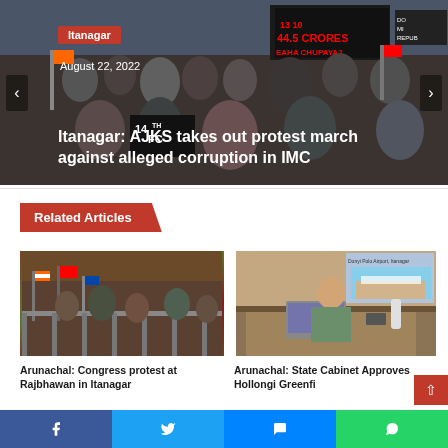[Figure (photo): Hero image showing protest march crowd with signs, including one reading '44.5 CRORES' and 'EAHA CHUPAYA?' with people holding flags]
Itanagar
August 22, 2022
Itanagar: AJKS takes out protest march against alleged corruption in IMC
Related Articles
[Figure (photo): Photo of Congress protest at Rajbhawan in Itanagar, showing crowd with flags at a gate]
Arunachal: Congress protest at Rajbhawan in Itanagar
[Figure (photo): Photo of State Cabinet official at desk with Donyi Polo Airport Itanagar image in background]
Arunachal: State Cabinet Approves Hollongi Greenfi